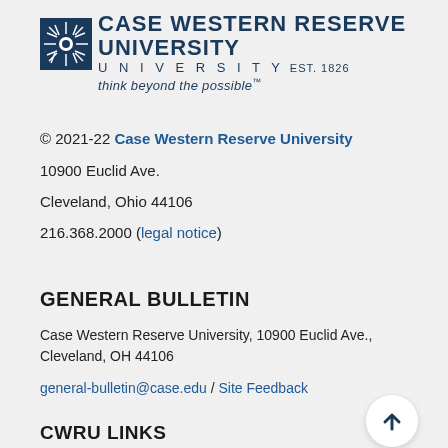[Figure (logo): Case Western Reserve University logo with torch/starburst icon, university name in navy blue uppercase, EST. 1826, and tagline 'think beyond the possible']
© 2021-22 Case Western Reserve University
10900 Euclid Ave.
Cleveland, Ohio 44106
216.368.2000 (legal notice)
GENERAL BULLETIN
Case Western Reserve University, 10900 Euclid Ave., Cleveland, OH 44106
general-bulletin@case.edu / Site Feedback
CWRU LINKS
Apply  |  Give  |  Visit  |  Directory